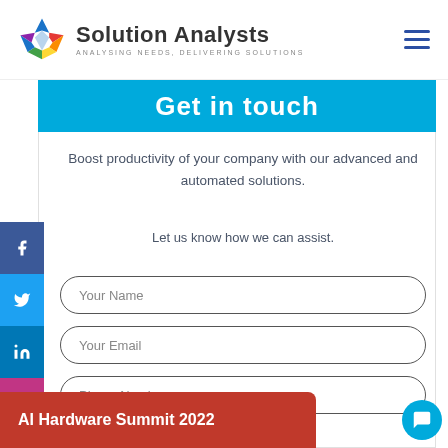[Figure (logo): Solution Analysts logo with star icon and tagline ANALYSING NEEDS, DELIVERING SOLUTIONS]
Get in touch
Boost productivity of your company with our advanced and automated solutions.
Let us know how we can assist.
Your Name
Your Email
Phone Number
[Figure (infographic): Social media sidebar with Facebook, Twitter, LinkedIn, and Instagram icons]
AI Hardware Summit 2022